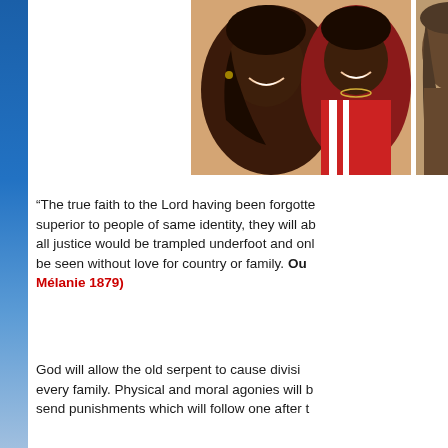[Figure (photo): Two photographs of women. Left photo shows two Black women smiling closely together, one with a blue sparkle decoration on her forehead. Right photo is partially visible showing a woman.]
“The true faith to the Lord having been forgotten, superior to people of same identity, they will ab... all justice would be trampled underfoot and onl... be seen without love for country or family. Ou... Mélanie 1879)
God will allow the old serpent to cause divisi... every family. Physical and moral agonies will b... send punishments which will follow one after t...